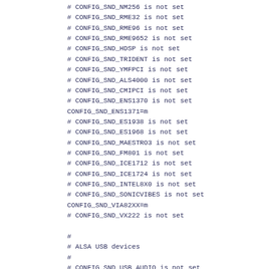# CONFIG_SND_NM256 is not set
# CONFIG_SND_RME32 is not set
# CONFIG_SND_RME96 is not set
# CONFIG_SND_RME9652 is not set
# CONFIG_SND_HDSP is not set
# CONFIG_SND_TRIDENT is not set
# CONFIG_SND_YMFPCI is not set
# CONFIG_SND_ALS4000 is not set
# CONFIG_SND_CMIPCI is not set
# CONFIG_SND_ENS1370 is not set
CONFIG_SND_ENS1371=m
# CONFIG_SND_ES1938 is not set
# CONFIG_SND_ES1968 is not set
# CONFIG_SND_MAESTRO3 is not set
# CONFIG_SND_FM801 is not set
# CONFIG_SND_ICE1712 is not set
# CONFIG_SND_ICE1724 is not set
# CONFIG_SND_INTEL8X0 is not set
# CONFIG_SND_SONICVIBES is not set
CONFIG_SND_VIA82XX=m
# CONFIG_SND_VX222 is not set

#
# ALSA USB devices
#
# CONFIG_SND_USB_AUDIO is not set

#
# Open Sound System
#